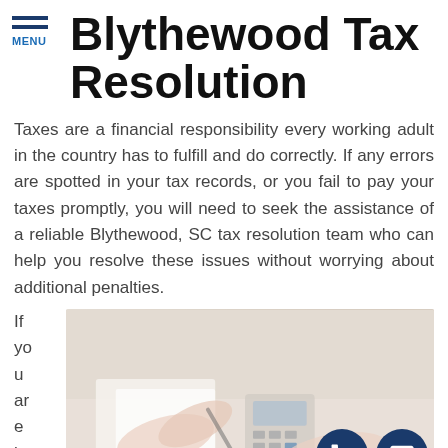Blythewood Tax Resolution
Taxes are a financial responsibility every working adult in the country has to fulfill and do correctly. If any errors are spotted in your tax records, or you fail to pay your taxes promptly, you will need to seek the assistance of a reliable Blythewood, SC tax resolution team who can help you resolve these issues without worrying about additional penalties.
If you are look in
[Figure (photo): A photo showing hands working at a desk with documents and a calculator, with two circular contact icons (phone and email) overlaid in the bottom right corner.]